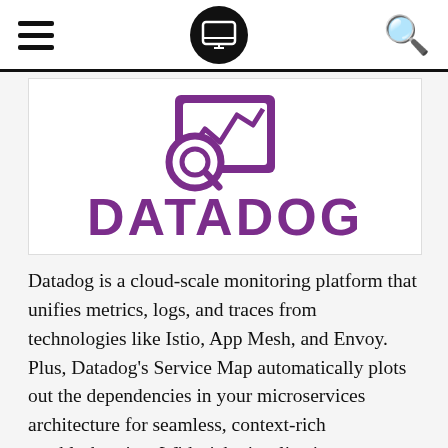Navigation bar with hamburger menu, laptop logo, and search icon
[Figure (logo): Datadog logo — purple geometric icon above the word DATADOG in large purple letters]
Datadog is a cloud-scale monitoring platform that unifies metrics, logs, and traces from technologies like Istio, App Mesh, and Envoy. Plus, Datadog's Service Map automatically plots out the dependencies in your microservices architecture for seamless, context-rich troubleshooting. With rich visualizations, algorithmic alerting, and more than 450 vendor-supported integrations, Datadog allows you to monitor your distributed applications in real time. Start a free 14-day trial today by